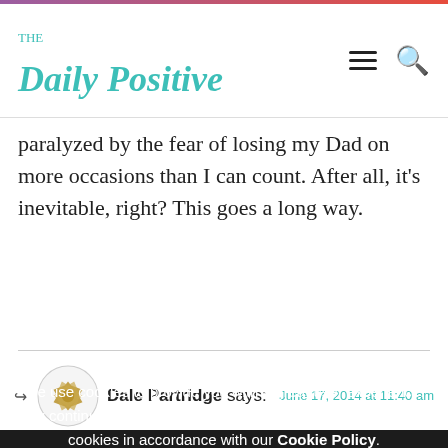The Daily Positive
paralyzed by the fear of losing my Dad on more occasions than I can count. After all, it’s inevitable, right? This goes a long way.
Dale Partridge says:   June 17, 2014 at 11:40 am
We use cookies to provide you with a great user experience. By continuing to use this website, you consent to the use of cookies in accordance with our Cookie Policy.